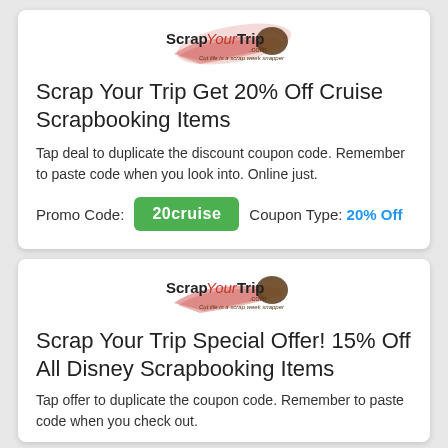[Figure (logo): Scrap Your Trip logo — text with film strip graphic]
Scrap Your Trip Get 20% Off Cruise Scrapbooking Items
Tap deal to duplicate the discount coupon code. Remember to paste code when you look into. Online just.
Promo Code: 20cruise   Coupon Type: 20% Off
[Figure (logo): Scrap Your Trip logo — text with film strip graphic]
Scrap Your Trip Special Offer! 15% Off All Disney Scrapbooking Items
Tap offer to duplicate the coupon code. Remember to paste code when you check out.